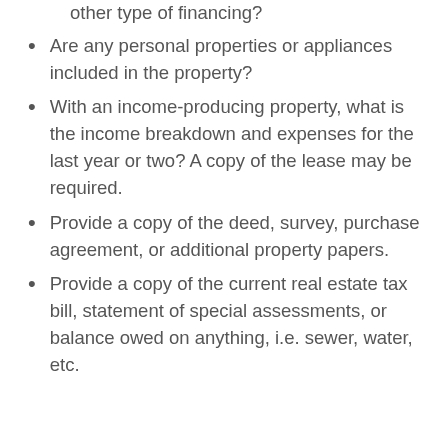other type of financing?
Are any personal properties or appliances included in the property?
With an income-producing property, what is the income breakdown and expenses for the last year or two? A copy of the lease may be required.
Provide a copy of the deed, survey, purchase agreement, or additional property papers.
Provide a copy of the current real estate tax bill, statement of special assessments, or balance owed on anything, i.e. sewer, water, etc.